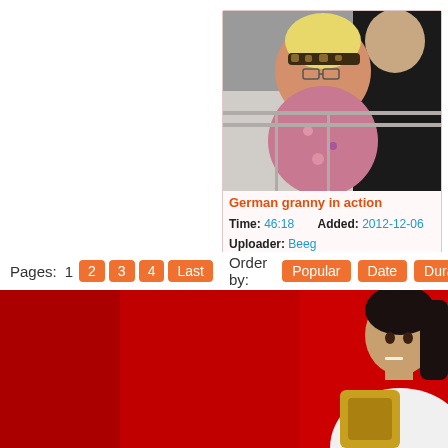[Figure (photo): Video thumbnail showing two people, a woman with blonde hair and glasses wearing a leopard print headband and floral top, and a man in a black jacket, in what appears to be an indoor setting]
German granny in action
Time: 46:18   Added: 2012-12-06
Uploader: Beeg
Tags: german,   Report
Pages: 1  2  3  4  Last   Order by:  Popular  Date  Duration
[Figure (photo): Photo of a young woman with dark hair posing against a red background, wearing a white top, sitting near a gold-framed chair]